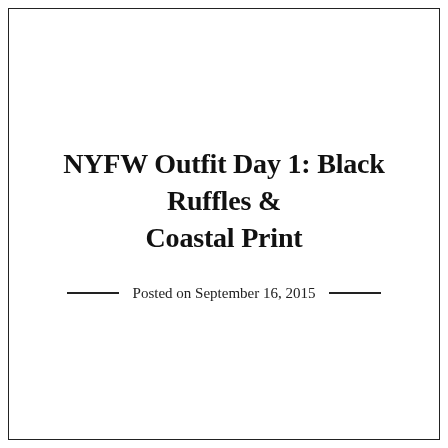NYFW Outfit Day 1: Black Ruffles & Coastal Print
Posted on September 16, 2015